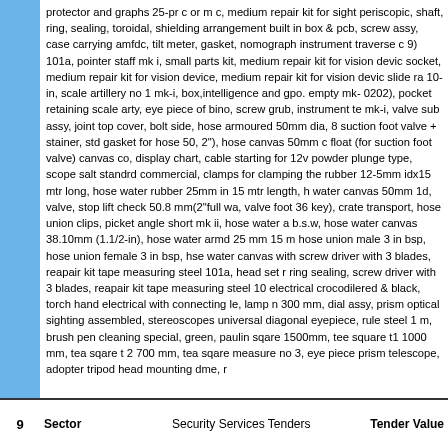protector and graphs 25-pr c or m c, medium repair kit for sight periscopic, shaft, ring, sealing, toroidal, shielding arrangement built in box & pcb, screw assy, case carrying amfdc, tilt meter, gasket, nomograph instrument traverse c 9) 101a, pointer staff mk i, small parts kit, medium repair kit for vision devic socket, medium repair kit for vision device, medium repair kit for vision devic slide ra 10-in, scale artillery no 1 mk-i, box,intelligence and gpo. empty mk- 0202), pocket retaining scale arty, eye piece of bino, screw grub, instrument te mk-i, valve sub assy, joint top cover, bolt side, hose armoured 50mm dia, 8 suction foot valve + stainer, std gasket for hose 50, 2"), hose canvas 50mm c float (for suction foot valve) canvas co, display chart, cable starting for 12v powder plunge type, scope salt standrd commercial, clamps for clamping the rubber 12-5mm idx15 mtr long, hose water rubber 25mm in 15 mtr length, h water canvas 50mm 1d, valve, stop lift check 50.8 mm(2"full wa, valve foot 36 key), crate transport, hose union clips, picket angle short mk ii, hose water a b.s.w, hose water canvas 38.10mm (1.1/2-in), hose water armd 25 mm 15 m hose union male 3 in bsp, hose union female 3 in bsp, hse water canvas with screw driver with 3 blades, reapair kit tape measuring steel 101a, head set r ring sealing, screw driver with 3 blades, reapair kit tape measuring steel 10 electrical crocodilered & black, torch hand electrical with connecting le, lamp n 300 mm, dial assy, prism optical sighting assembled, stereoscopes universal diagonal eyepiece, rule steel 1 m, brush pen cleaning special, green, paulin sqare 1500mm, tee square t1 1000 mm, tea sqare t 2 700 mm, tea sqare measure no 3, eye piece prism telescope, adopter tripod head mounting dme, r
| 9 | Sector | Security Services Tenders | Tender Value |
| --- | --- | --- | --- |